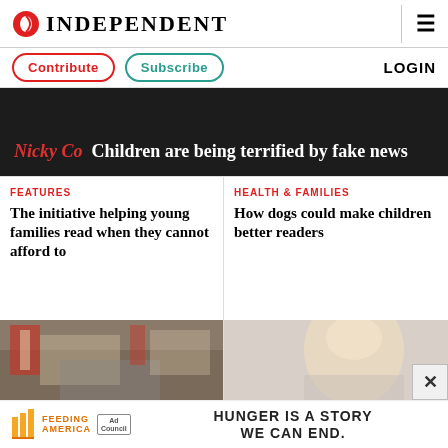INDEPENDENT
Contribute | Subscribe | LOGIN
Nicky Co Children are being terrified by fake news
FEATURES
The initiative helping young families read when they cannot afford to
HEALTH & FAMILIES
How dogs could make children better readers
[Figure (photo): Children in a classroom with bookshelves]
[Figure (photo): Blonde child reading or looking down]
[Figure (infographic): Feeding America ad council advertisement: HUNGER IS A STORY WE CAN END.]